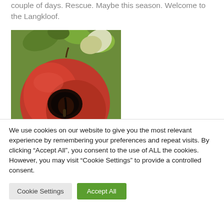couple of days. Rescue. Maybe this season. Welcome to the Langkloof.
[Figure (photo): Close-up photo of a red apple hanging on a tree with green leaves, showing a dark hole or wound on its surface suggesting pest damage or disease.]
We use cookies on our website to give you the most relevant experience by remembering your preferences and repeat visits. By clicking “Accept All”, you consent to the use of ALL the cookies. However, you may visit "Cookie Settings" to provide a controlled consent.
Cookie Settings | Accept All